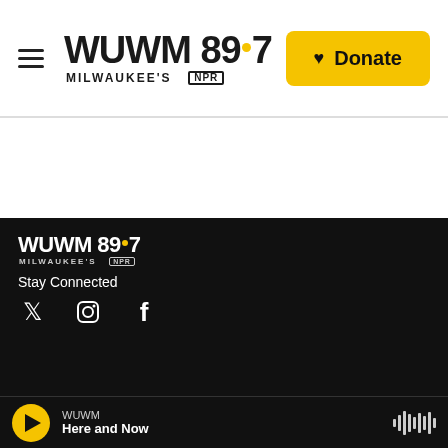WUWM 89.7 Milwaukee's NPR — Donate
[Figure (logo): WUWM 89.7 Milwaukee's NPR logo in header]
[Figure (logo): WUWM 89.7 Milwaukee's NPR logo in footer]
Stay Connected
[Figure (illustration): Social media icons: Twitter, Instagram, Facebook]
WUWM Here and Now — player bar with play button and waveform